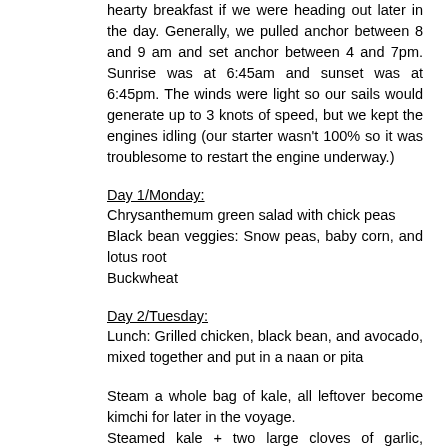hearty breakfast if we were heading out later in the day. Generally, we pulled anchor between 8 and 9 am and set anchor between 4 and 7pm. Sunrise was at 6:45am and sunset was at 6:45pm. The winds were light so our sails would generate up to 3 knots of speed, but we kept the engines idling (our starter wasn't 100% so it was troublesome to restart the engine underway.)
Day 1/Monday:
Chrysanthemum green salad with chick peas
Black bean veggies: Snow peas, baby corn, and lotus root
Buckwheat
Day 2/Tuesday:
Lunch: Grilled chicken, black bean, and avocado, mixed together and put in a naan or pita
Steam a whole bag of kale, all leftover become kimchi for later in the voyage.
Steamed kale + two large cloves of garlic, shredded, 1tbs soy sauce, 1 teaspoon Korean chili flake, 2 teaspoons